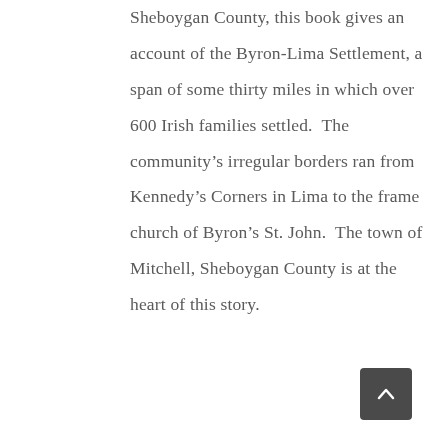Sheboygan County, this book gives an account of the Byron-Lima Settlement, a span of some thirty miles in which over 600 Irish families settled.  The community's irregular borders ran from Kennedy's Corners in Lima to the frame church of Byron's St. John.  The town of Mitchell, Sheboygan County is at the heart of this story.